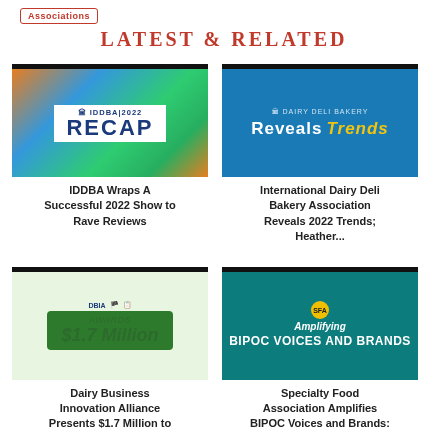Associations
LATEST & RELATED
[Figure (photo): IDDBA 2022 Recap banner with colorful triangles and IDDBA logo]
IDDBA Wraps A Successful 2022 Show to Rave Reviews
[Figure (photo): Dairy Deli Bakery Association Reveals Trends banner on blue background]
International Dairy Deli Bakery Association Reveals 2022 Trends; Heather...
[Figure (photo): Dairy Business Innovation Alliance awards $1.7 Million banner on green background]
Dairy Business Innovation Alliance Presents $1.7 Million to
[Figure (photo): Specialty Food Association Amplifying BIPOC Voices and Brands banner on teal background]
Specialty Food Association Amplifies BIPOC Voices and Brands: